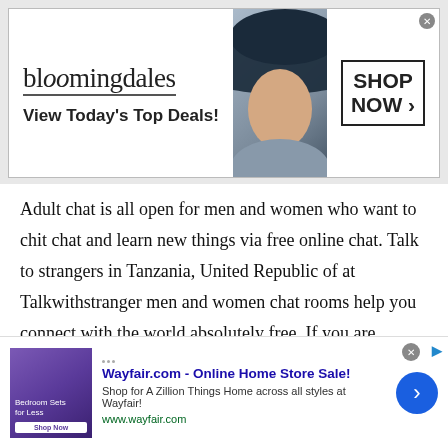[Figure (screenshot): Bloomingdale's advertisement banner: logo text 'bloomingdales', tagline 'View Today's Top Deals!', image of woman in large hat, 'SHOP NOW >' button in box]
Adult chat is all open for men and women who want to chit chat and learn new things via free online chat. Talk to strangers in Tanzania, United Republic of at Talkwithstranger men and women chat rooms help you connect with the world absolutely free. If you are searching for friends online from different countries then at the TWS country specific chat option you will surely find your best partner.
Well, if you think socializing or meeting male and
[Figure (screenshot): Wayfair.com advertisement: 'Wayfair.com - Online Home Store Sale!' with bedroom furniture image, 'Shop for A Zillion Things Home across all styles at Wayfair!' and 'www.wayfair.com' link, blue circular arrow button]